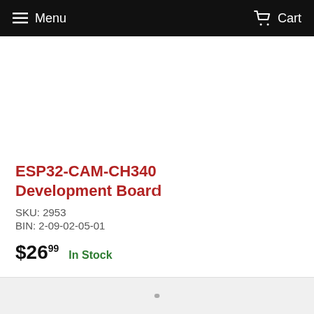Menu  Cart
ESP32-CAM-CH340 Development Board
SKU: 2953
BIN: 2-09-02-05-01
$26.99  In Stock